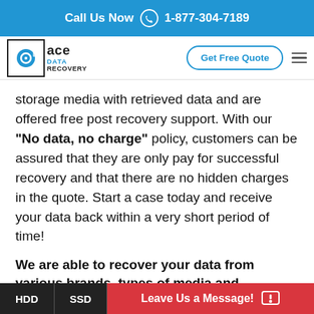Call Us Now 1-877-304-7189
[Figure (logo): Ace Data Recovery logo with phone icon and navigation bar including Get Free Quote button and hamburger menu]
storage media with retrieved data and are offered free post recovery support. With our "No data, no charge" policy, customers can be assured that they are only pay for successful recovery and that there are no hidden charges in the quote. Start a case today and receive your data back within a very short period of time!
We are able to recover your data from various brands, types of media and technologies, including, but not limited to:
Western Digital
HDD  SSD  Leave Us a Message!